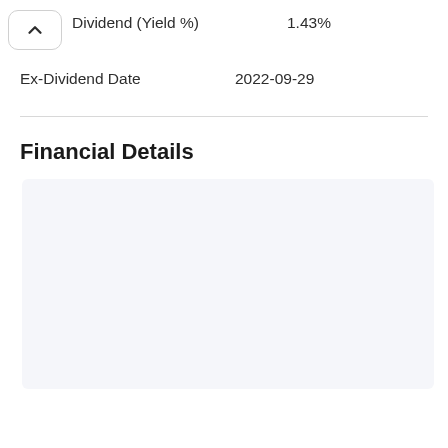Dividend (Yield %) 1.43%
Ex-Dividend Date 2022-09-29
Financial Details
[Figure (other): Empty light gray box placeholder for financial details content]